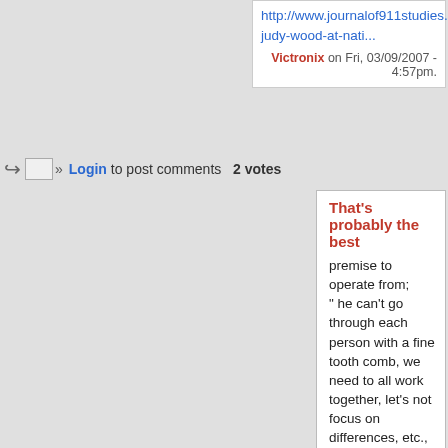http://www.journalof911studies.com/letters/b/interview-judy-wood-at-nati...
Victronix on Fri, 03/09/2007 - 4:57pm.
Login to post comments  2 votes
That's probably the best
premise to operate from;
" he can't go through each person with a fine tooth comb, we need to all work together, let's not focus on differences, etc., etc. Big Tent."

and I might add,
" the time for fancy ideas comes after the basic
ones are well in place"

There's an unfortunate bruh haha going on in the Truth movement that needs to be quelled before some jackass like O'Reilly gets hold of it. Any one who QUESTIONS anything about 9/11 should be included here until we get down to the trial; when the eye witnesses and experts step up to